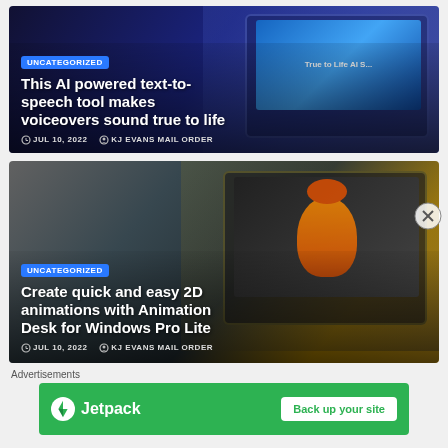[Figure (screenshot): Article card with dark blue gradient background showing a laptop with text-to-speech tool interface. Badge reads UNCATEGORIZED (partially visible at top). Title: This AI powered text-to-speech tool makes voiceovers sound true to life. Date: JUL 10, 2022. Author: KJ EVANS MAIL ORDER.]
[Figure (screenshot): Article card with dark/golden gradient background showing a laptop with Animation Desk software displaying a cartoon character. Badge reads UNCATEGORIZED. Title: Create quick and easy 2D animations with Animation Desk for Windows Pro Lite. Date: JUL 10, 2022. Author: KJ EVANS MAIL ORDER.]
Advertisements
[Figure (other): Jetpack advertisement banner in green with Jetpack logo and Back up your site button.]